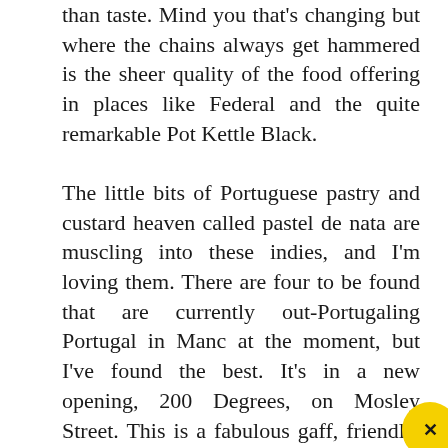than taste. Mind you that's changing but where the chains always get hammered is the sheer quality of the food offering in places like Federal and the quite remarkable Pot Kettle Black.
The little bits of Portuguese pastry and custard heaven called pastel de nata are muscling into these indies, and I'm loving them. There are four to be found that are currently out-Portugaling Portugal in Manc at the moment, but I've found the best. It's in a new opening, 200 Degrees, on Mosley Street. This is a fabulous gaff, friendly, comfortable, smells wonderful and has a great selection of food. And a pastel de nata that if I weren't such a greedy fat fuck, I'd wear it around my neck as a substitute Olympic gold medal.